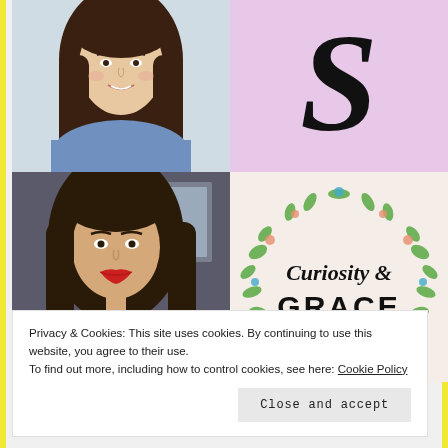[Figure (photo): Young woman with long dark hair, wearing a blue zip-up top, smiling — top left photo]
[Figure (logo): Pink background with a stylized cursive letter S in black — top right logo]
[Figure (photo): Young woman with long dark brown hair, red lips, wearing a black top, taking a selfie — middle left photo]
[Figure (logo): Curiosity & GRACE logo on cream/peach background with floral wreath decoration in green and pink]
Privacy & Cookies: This site uses cookies. By continuing to use this website, you agree to their use.
To find out more, including how to control cookies, see here: Cookie Policy
Close and accept